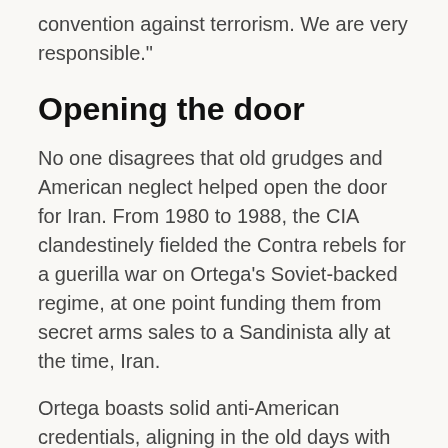convention against terrorism. We are very responsible."
Opening the door
No one disagrees that old grudges and American neglect helped open the door for Iran. From 1980 to 1988, the CIA clandestinely fielded the Contra rebels for a guerilla war on Ortega's Soviet-backed regime, at one point funding them from secret arms sales to a Sandinista ally at the time, Iran.
Ortega boasts solid anti-American credentials, aligning in the old days with Iraq's Saddam Hussein and Libya's Moammar Gadhafi, and more recently defending Iran's right to develop nuclear bombs.